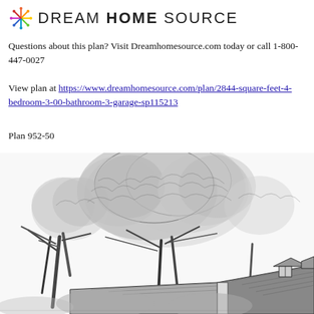[Figure (logo): Dream Home Source logo with colorful snowflake/asterisk icon and text DREAM HOME SOURCE]
Questions about this plan? Visit Dreamhomesource.com today or call 1-800-447-0027
View plan at https://www.dreamhomesource.com/plan/2844-square-feet-4-bedroom-3-00-bathroom-3-garage-sp115213
Plan 952-50
[Figure (illustration): Black and white architectural illustration of a house with large trees in the foreground, showing rooflines and dormer windows]